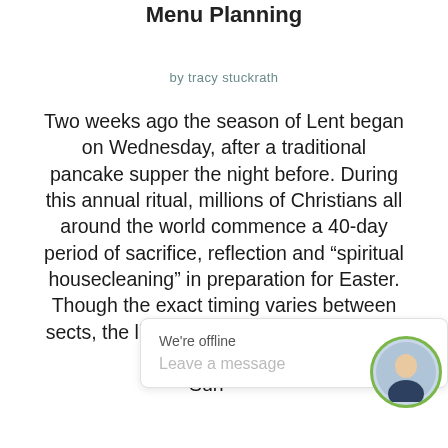Menu Planning
by tracy stuckrath
Two weeks ago the season of Lent began on Wednesday, after a traditional pancake supper the night before. During this annual ritual, millions of Christians all around the world commence a 40-day period of sacrifice, reflection and “spiritual housecleaning” in preparation for Easter. Though the exact timing varies between sects, the liturgical season typically starts and ends on Sunday,